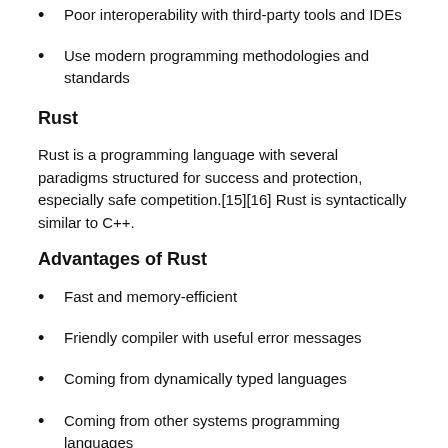Poor interoperability with third-party tools and IDEs
Use modern programming methodologies and standards
Rust
Rust is a programming language with several paradigms structured for success and protection, especially safe competition.[15][16] Rust is syntactically similar to C++.
Advantages of Rust
Fast and memory-efficient
Friendly compiler with useful error messages
Coming from dynamically typed languages
Coming from other systems programming languages
Disadvantages of Rust
Slow and leaky
Invasive and Dysfunctional
It's not webscale
Less efficient code as compared to C++ and especially C